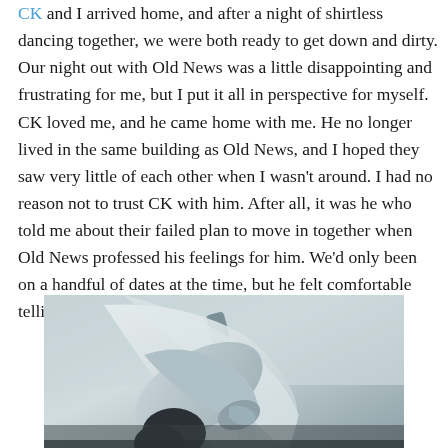CK and I arrived home, and after a night of shirtless dancing together, we were both ready to get down and dirty. Our night out with Old News was a little disappointing and frustrating for me, but I put it all in perspective for myself. CK loved me, and he came home with me. He no longer lived in the same building as Old News, and I hoped they saw very little of each other when I wasn't around. I had no reason not to trust CK with him. After all, it was he who told me about their failed plan to move in together when Old News professed his feelings for him. We'd only been on a handful of dates at the time, but he felt comfortable telling me about their brief history.
[Figure (photo): Black and white photo of two people in an intimate embrace, one person leaning over the other]